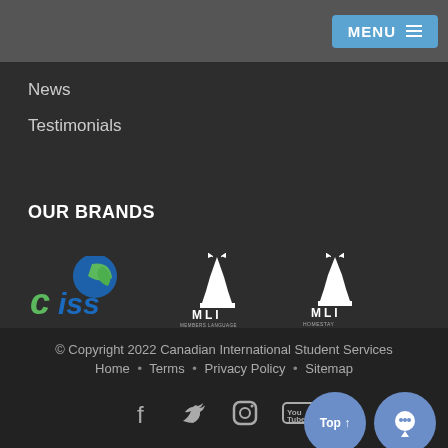MENU
News
Testimonials
OUR BRANDS
[Figure (logo): CISS logo - green and blue leaf design with stylized text 'ciss']
[Figure (logo): MLI logo - white lighthouse/sailboat design with text 'MLI MEMBERS LANGUAGE INTERNATIONAL']
[Figure (logo): MLI Homestay logo - white lighthouse/sailboat design with text 'MLI HOMESTAY']
© Copyright 2022 Canadian International Student Services • Home • Terms • Privacy Policy • Sitemap